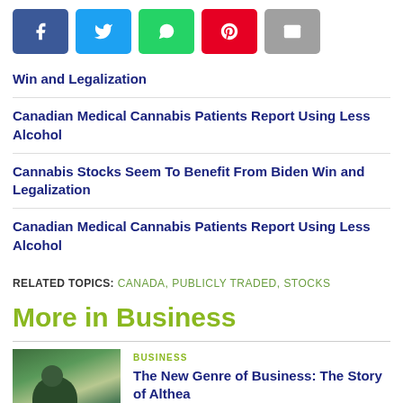[Figure (other): Social media share buttons: Facebook (blue), Twitter (light blue), WhatsApp (green), Pinterest (red), Email (grey)]
Win and Legalization
Canadian Medical Cannabis Patients Report Using Less Alcohol
Cannabis Stocks Seem To Benefit From Biden Win and Legalization
Canadian Medical Cannabis Patients Report Using Less Alcohol
RELATED TOPICS: CANADA, PUBLICLY TRADED, STOCKS
More in Business
BUSINESS
The New Genre of Business: The Story of Althea